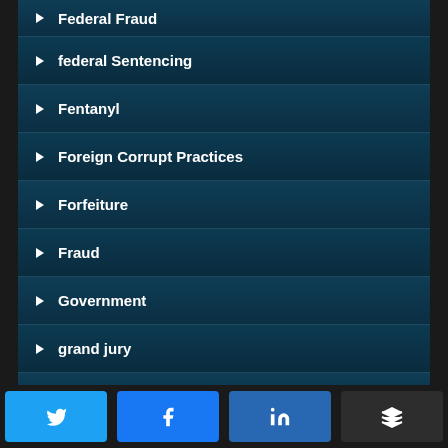Federal Fraud
federal Sentencing
Fentanyl
Foreign Corrupt Practices
Forfeiture
Fraud
Government
grand jury
Guns
H.R. 1865
Hacking